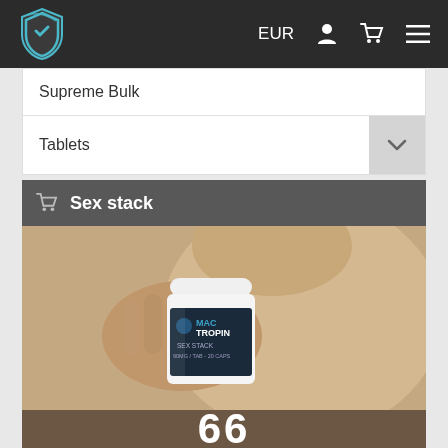EUR
Supreme Bulk
Tablets
Sex stack
[Figure (photo): A shirtless man holding up a small white bottle labeled MACTROPIN SEX STACK 90MG/TAB - 20 CAPS. The bottle has a dark label with the Mactropin logo.]
66